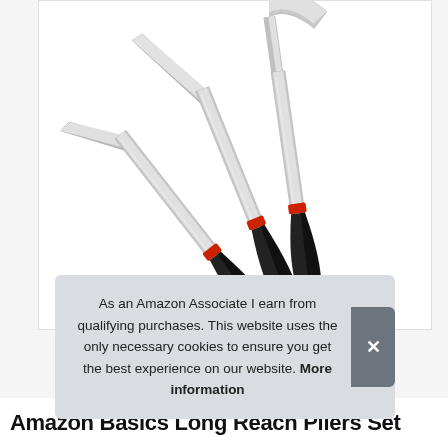[Figure (photo): Three long-reach pliers set with black rubber grips and red accent rings near the handles. The pliers are stainless steel with long slender jaws, arranged diagonally side by side.]
As an Amazon Associate I earn from qualifying purchases. This website uses the only necessary cookies to ensure you get the best experience on our website. More information
Amazon Basics Long Reach Pliers Set